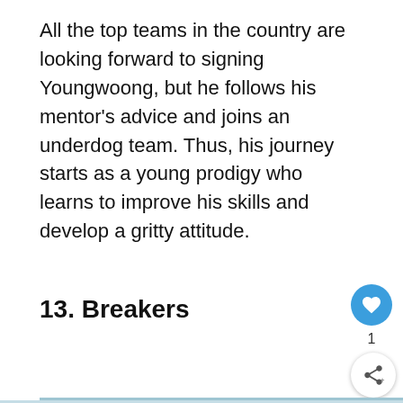All the top teams in the country are looking forward to signing Youngwoong, but he follows his mentor's advice and joins an underdog team. Thus, his journey starts as a young prodigy who learns to improve his skills and develop a gritty attitude.
13. Breakers
[Figure (screenshot): Anime screenshot showing a basketball player mid-air reaching for a basketball in an indoor court, with a 'What's Next' overlay bubble showing a Snorlax avatar and text 'Top 15 Best Bear Pokem...']
[Figure (screenshot): Advertisement banner at bottom showing Topgolf logo with checkmark Dine-in and X Delivery options, and a navigation arrow icon]